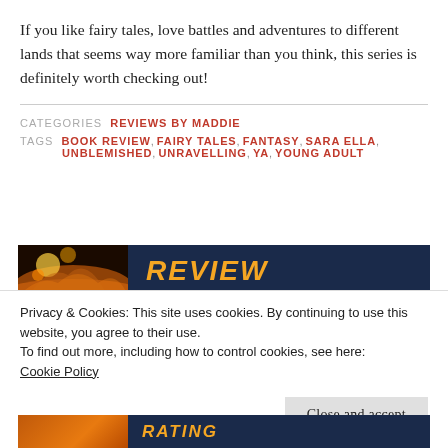If you like fairy tales, love battles and adventures to different lands that seems way more familiar than you think, this series is definitely worth checking out!
CATEGORIES  REVIEWS BY MADDIE
TAGS  BOOK REVIEW, FAIRY TALES, FANTASY, SARA ELLA, UNBLEMISHED, UNRAVELLING, YA, YOUNG ADULT
[Figure (screenshot): Website banner image showing a dark blue background with orange/fire imagery on the left and large yellow italic text reading REVIEW on the right]
Privacy & Cookies: This site uses cookies. By continuing to use this website, you agree to their use.
To find out more, including how to control cookies, see here:
Cookie Policy
Close and accept
[Figure (screenshot): Bottom website banner with dark blue background, orange left section, and yellow text partially visible]